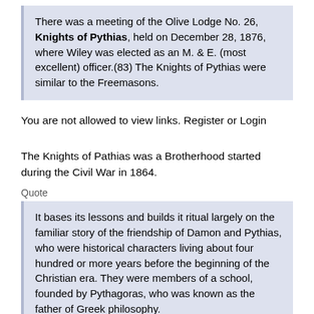There was a meeting of the Olive Lodge No. 26, Knights of Pythias, held on December 28, 1876, where Wiley was elected as an M. & E. (most excellent) officer.(83) The Knights of Pythias were similar to the Freemasons.
You are not allowed to view links. Register or Login
The Knights of Pathias was a Brotherhood started during the Civil War in 1864.
Quote
It bases its lessons and builds it ritual largely on the familiar story of the friendship of Damon and Pythias, who were historical characters living about four hundred or more years before the beginning of the Christian era. They were members of a school, founded by Pythagoras, who was known as the father of Greek philosophy.
To become a member of the Pythagorean Brotherhood, certain very rigorous tests were demanded and applied, some